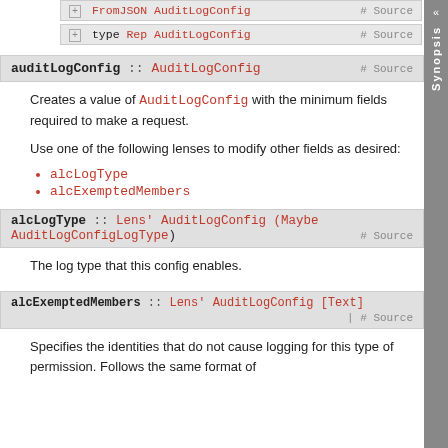+ FromJSON AuditLogConfig   # Source
+ type Rep AuditLogConfig   # Source
auditLogConfig :: AuditLogConfig   # Source
Creates a value of AuditLogConfig with the minimum fields required to make a request.
Use one of the following lenses to modify other fields as desired:
alcLogType
alcExemptedMembers
alcLogType :: Lens' AuditLogConfig (Maybe AuditLogConfigLogType)   # Source
The log type that this config enables.
alcExemptedMembers :: Lens' AuditLogConfig [Text]   | # Source
Specifies the identities that do not cause logging for this type of permission. Follows the same format of